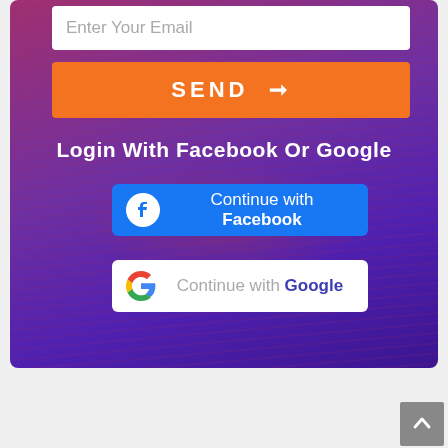[Figure (screenshot): Login form with purple/orange stadium background, email input, send button, and social login buttons for Facebook and Google]
Enter Your Email
SEND →
Login With Facebook Or Google
Continue with Facebook
Continue with Google